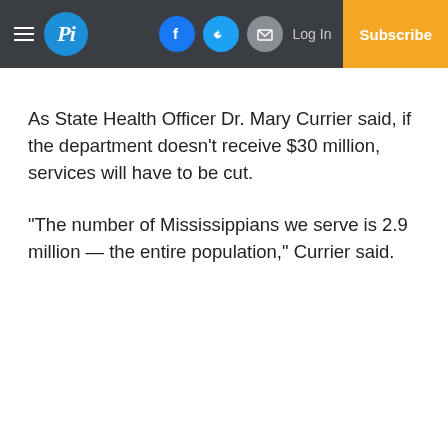Pi — Log In — Subscribe
As State Health Officer Dr. Mary Currier said, if the department doesn't receive $30 million, services will have to be cut.
“The number of Mississippians we serve is 2.9 million — the entire population,” Currier said.